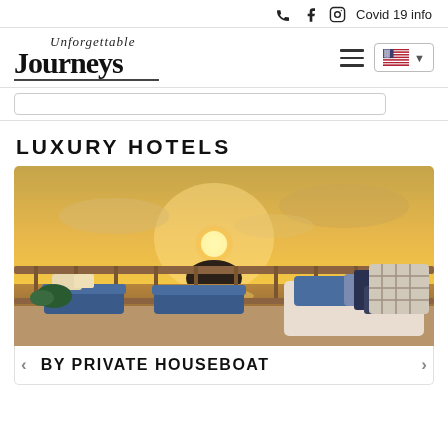Covid 19 info
[Figure (logo): Unforgettable Journeys logo with script and serif text]
LUXURY HOTELS
[Figure (photo): Sunset view from a luxury houseboat deck with lounge chairs, blue cushions, wooden railing, and an island silhouette in the background]
BY PRIVATE HOUSEBOAT